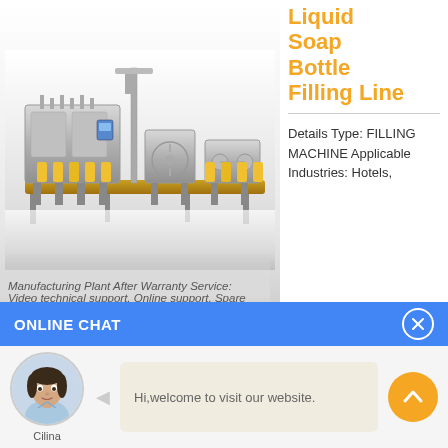Liquid Soap Bottle Filling Line
Details Type: FILLING MACHINE Applicable Industries: Hotels,
[Figure (photo): Industrial liquid soap bottle filling line machine with conveyor belt and multiple filling stations, silver/metallic finish with yellow bottle containers visible on the conveyor]
Manufacturing Plant After Warranty Service: Video technical support, Online support, Spare parts, Field
ONLINE CHAT
[Figure (photo): Avatar photo of a young Asian woman named Cilina, wearing a light blue shirt, customer service representative]
Hi,welcome to visit our website.
Cilina